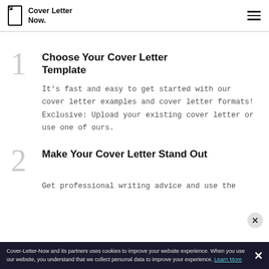Cover Letter Now.
1 Choose Your Cover Letter Template
It's fast and easy to get started with our cover letter examples and cover letter formats! Exclusive: Upload your existing cover letter or use one of ours.
2 Make Your Cover Letter Stand Out
Get professional writing advice and use the
Cover-Letter-Now and its partners uses cookies to improve your website experience. When you use our website, you understand that we collect personal data to improve your experience. Learn More